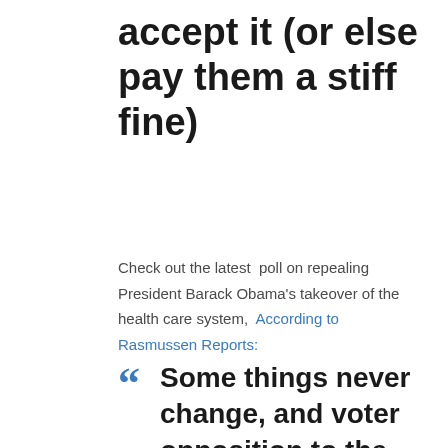accept it (or else pay them a stiff fine)
Check out the latest poll on repealing President Barack Obama's takeover of the health care system, According to Rasmussen Reports:
Some things never change, and voter opposition to the recently passed national health